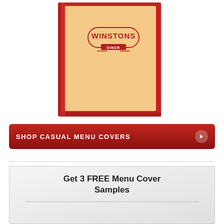[Figure (photo): A restaurant menu cover with red borders and a peach/tan colored front panel. The cover features a logo that reads 'WINSTONS DINER' in a rounded rectangular badge design in dark red color.]
SHOP CASUAL MENU COVERS
Get 3 FREE Menu Cover Samples